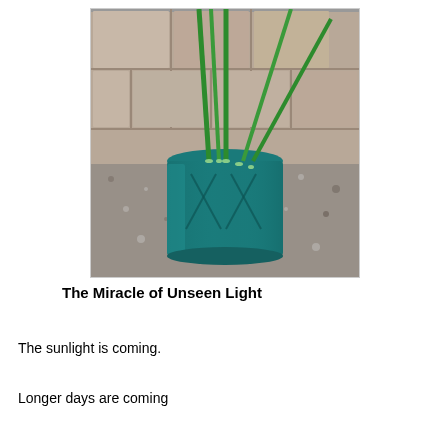[Figure (photo): Green onion stalks in a teal/dark green glass cup sitting on a granite countertop with beige tile wall in background]
The Miracle of Unseen Light
The sunlight is coming.
Longer days are coming